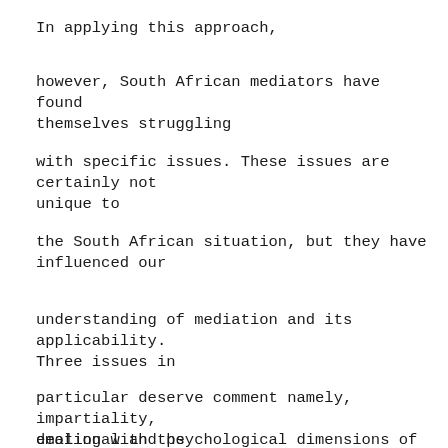In applying this approach,
however, South African mediators have found themselves struggling
with specific issues. These issues are certainly not unique to
the South African situation, but they have influenced our
understanding of mediation and its applicability. Three issues in
particular deserve comment namely, impartiality, dealing with the
emotional and psychological dimensions of conflict